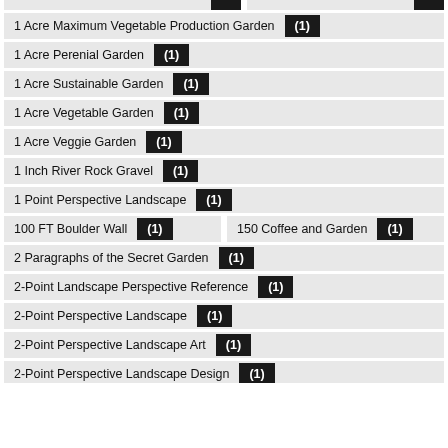1 Acre Maximum Vegetable Production Garden (1)
1 Acre Perenial Garden (1)
1 Acre Sustainable Garden (1)
1 Acre Vegetable Garden (1)
1 Acre Veggie Garden (1)
1 Inch River Rock Gravel (1)
1 Point Perspective Landscape (1)
100 FT Boulder Wall (1)
150 Coffee and Garden (1)
2 Paragraphs of the Secret Garden (1)
2-Point Landscape Perspective Reference (1)
2-Point Perspective Landscape (1)
2-Point Perspective Landscape Art (1)
2-Point Perspective Landscape Design (1)